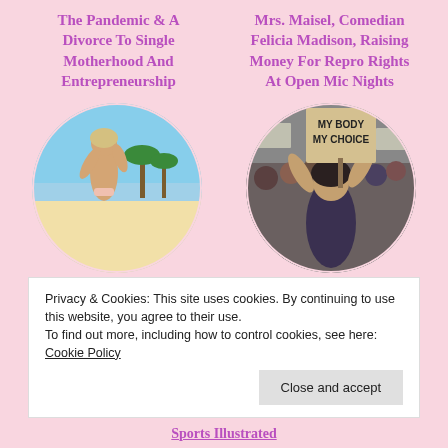The Pandemic & A Divorce To Single Motherhood And Entrepreneurship
Mrs. Maisel, Comedian Felicia Madison, Raising Money For Repro Rights At Open Mic Nights
[Figure (photo): Circular photo of a woman in a bikini on a beach with palm trees]
[Figure (photo): Circular photo of a woman holding a sign reading MY BODY MY CHOICE at a protest]
Privacy & Cookies: This site uses cookies. By continuing to use this website, you agree to their use.
To find out more, including how to control cookies, see here: Cookie Policy
Close and accept
Sports Illustrated